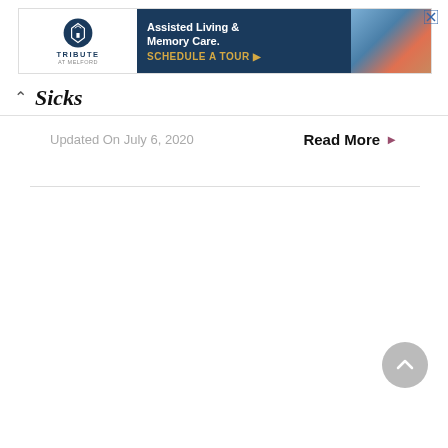[Figure (other): Advertisement banner for Tribute at Melford assisted living and memory care facility, with logo on white left section, dark navy blue center with text 'Assisted Living & Memory Care. SCHEDULE A TOUR ▶', and an image of elderly people on the right side. Close button in top-right corner.]
^ Sicks
Updated On July 6, 2020
Read More ▶